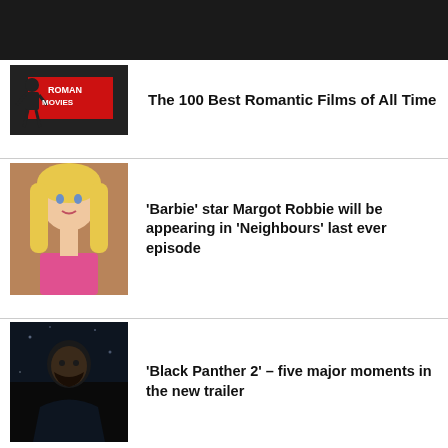[Figure (logo): 100 Best Romantic Movies logo with red banner and silhouette figure]
The 100 Best Romantic Films of All Time
[Figure (photo): Blonde woman (Margot Robbie) in pink outfit]
'Barbie' star Margot Robbie will be appearing in 'Neighbours' last ever episode
[Figure (photo): Dark dramatic portrait of man (Black Panther 2 trailer)]
'Black Panther 2' – five major moments in the new trailer